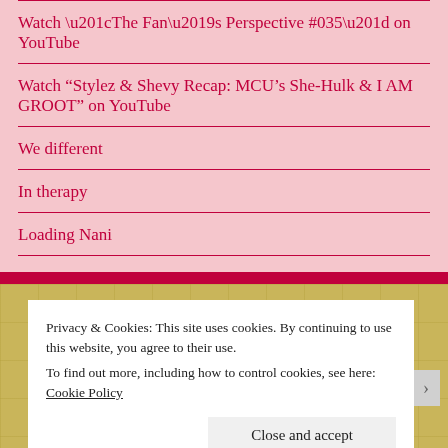Watch “The Fan’s Perspective #035” on YouTube
Watch “Stylez & Shevy Recap: MCU’s She-Hulk & I AM GROOT” on YouTube
We different
In therapy
Loading Nani
Privacy & Cookies: This site uses cookies. By continuing to use this website, you agree to their use.
To find out more, including how to control cookies, see here: Cookie Policy
Close and accept